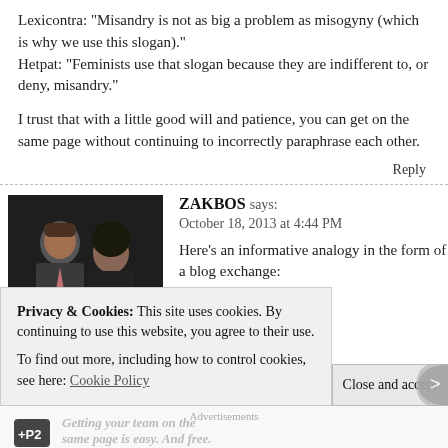Lexicontra: “Misandry is not as big a problem as misogyny (which is why we use this slogan).”
Hetpat: “Feminists use that slogan because they are indifferent to, or deny, misandry.”
I trust that with a little good will and patience, you can get on the same page without continuing to incorrectly paraphrase each other.
Reply
ZAKBOS says:
October 18, 2013 at 4:44 PM
Here’s an informative analogy in the form of a blog exchange:
A: “Racism against whites is not as big a problem as racism against blacks (which is why we use the slogan, ‘reverse racism isn’t a thing’).”
B: “Advocates for minority advancement use that slogan because they are
Privacy & Cookies: This site uses cookies. By continuing to use this website, you agree to their use.
To find out more, including how to control cookies, see here: Cookie Policy
Close and accept